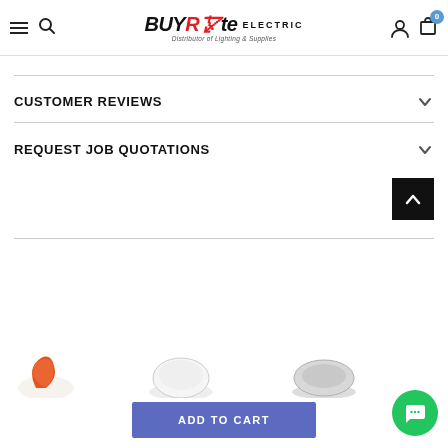BUYRite ELECTRIC - Distributor of Lighting & Supplies
CUSTOMER REVIEWS
REQUEST JOB QUOTATIONS
[Figure (screenshot): Back to top button (black square with white upward chevron arrow)]
[Figure (photo): Partial product thumbnail images visible at bottom of page]
[Figure (other): Green circular chat button with speech bubble icon]
ADD TO CART